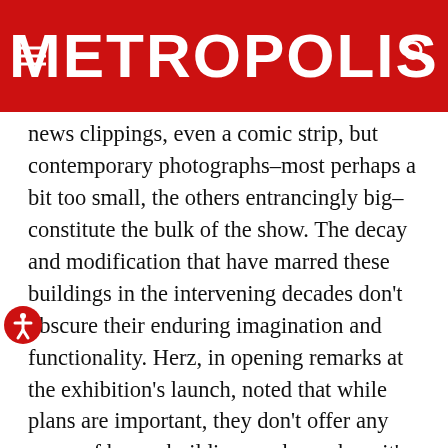METROPOLIS
news clippings, even a comic strip, but contemporary photographs–most perhaps a bit too small, the others entrancingly big–constitute the bulk of the show. The decay and modification that have marred these buildings in the intervening decades don't obscure their enduring imagination and functionality. Herz, in opening remarks at the exhibition's launch, noted that while plans are important, they don't offer any sense of how a building works, or how it's come to be used, hence this heavy